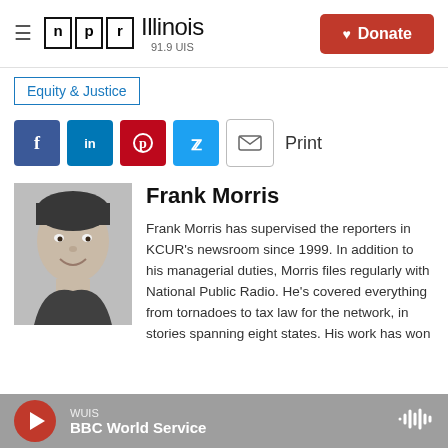NPR Illinois 91.9 UIS | Donate
Equity & Justice
[Figure (other): Social share buttons: Facebook, LinkedIn, Pinterest, Twitter, Email, and Print label]
[Figure (photo): Black and white headshot photo of Frank Morris, smiling man with short dark hair]
Frank Morris
Frank Morris has supervised the reporters in KCUR's newsroom since 1999. In addition to his managerial duties, Morris files regularly with National Public Radio. He's covered everything from tornadoes to tax law for the network, in stories spanning eight states. His work has won
WUIS BBC World Service